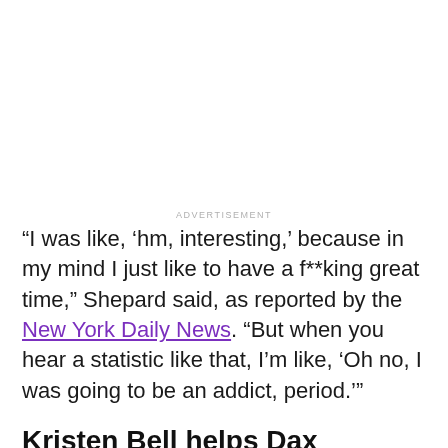ADVERTISEMENT
“I was like, ‘hm, interesting,’ because in my mind I just like to have a f**king great time,” Shepard said, as reported by the New York Daily News. “But when you hear a statistic like that, I’m like, ‘Oh no, I was going to be an addict, period.’”
Kristen Bell helps Dax Shepard celebrate his sobriety
kristenanniebell ✓  View profile